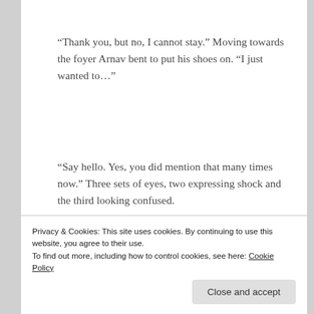“Thank you, but no, I cannot stay.” Moving towards the foyer Arnav bent to put his shoes on. “I just wanted to…”
“Say hello. Yes, you did mention that many times now.” Three sets of eyes, two expressing shock and the third looking confused.
Privacy & Cookies: This site uses cookies. By continuing to use this website, you agree to their use.
To find out more, including how to control cookies, see here: Cookie Policy
Close and accept